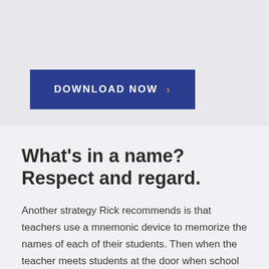[Figure (other): Dark blue DOWNLOAD NOW button with an orange chevron/arrow on the right side]
What's in a name? Respect and regard.
Another strategy Rick recommends is that teachers use a mnemonic device to memorize the names of each of their students. Then when the teacher meets students at the door when school starts, they can say things like "'Mr. Johnson, how you doing? Fred, how you doing today? Samantha, how are you?'